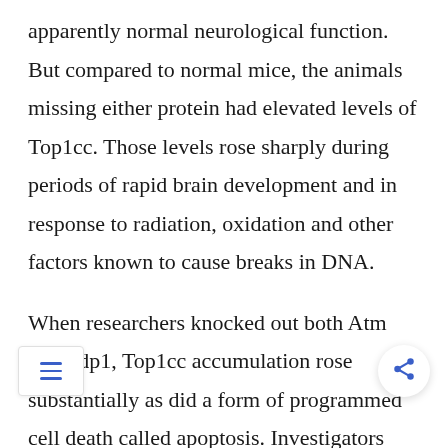apparently normal neurological function. But compared to normal mice, the animals missing either protein had elevated levels of Top1cc. Those levels rose sharply during periods of rapid brain development and in response to radiation, oxidation and other factors known to cause breaks in DNA.
When researchers knocked out both Atm and Tdp1, Top1cc accumulation rose substantially as did a form of programmed cell death called apoptosis. Investigators reported that apoptosis was concentrated in the developing brain and few mice survived to birth. McKinnon said the results add to